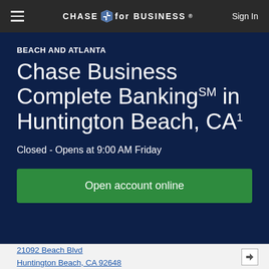CHASE FOR BUSINESS   Sign In
BEACH AND ATLANTA
Chase Business Complete Banking℠ in Huntington Beach, CA¹
Closed - Opens at 9:00 AM Friday
Open account online
21092 Beach Blvd
Huntington Beach, CA 92648